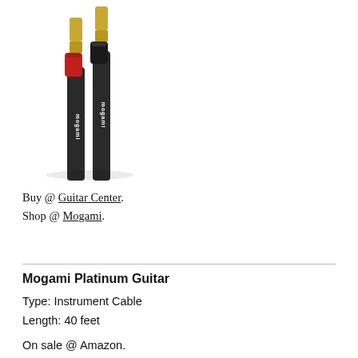[Figure (photo): Two guitar cable connectors with gold tips — one with a red collar and one with a black collar — both labeled 'mogami', against a white background.]
Buy @ Guitar Center.
Shop @ Mogami.
Mogami Platinum Guitar
Type: Instrument Cable
Length: 40 feet
On sale @ Amazon.